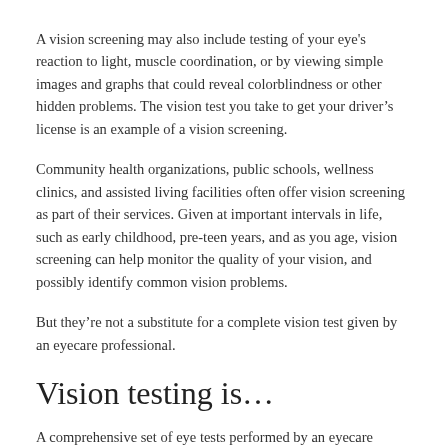A vision screening may also include testing of your eye's reaction to light, muscle coordination, or by viewing simple images and graphs that could reveal colorblindness or other hidden problems. The vision test you take to get your driver's license is an example of a vision screening.
Community health organizations, public schools, wellness clinics, and assisted living facilities often offer vision screening as part of their services. Given at important intervals in life, such as early childhood, pre-teen years, and as you age, vision screening can help monitor the quality of your vision, and possibly identify common vision problems.
But they're not a substitute for a complete vision test given by an eyecare professional.
Vision testing is…
A comprehensive set of eye tests performed by an eyecare professional in a controlled office setting with equipment that goes far beyond what's available at a vision screening.